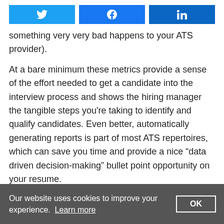[Figure (other): Social share buttons: Twitter (blue), Facebook (blue), LinkedIn (dark blue)]
something very very bad happens to your ATS provider).
At a bare minimum these metrics provide a sense of the effort needed to get a candidate into the interview process and shows the hiring manager the tangible steps you’re taking to identify and qualify candidates. Even better, automatically generating reports is part of most ATS repertoires, which can save you time and provide a nice “data driven decision-making” bullet point opportunity on your resume.
Our website uses cookies to improve your experience. Learn more